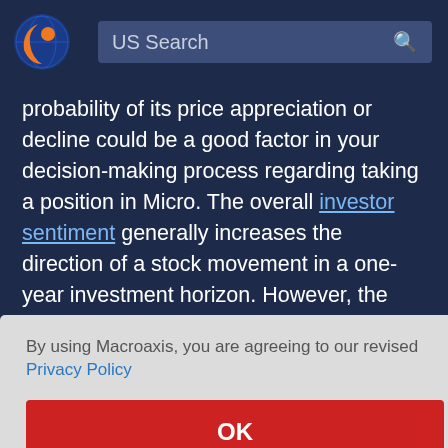[Figure (logo): Macroaxis logo: circular globe icon with orange and blue colors]
US Search
probability of its price appreciation or decline could be a good factor in your decision-making process regarding taking a position in Micro. The overall investor sentiment generally increases the direction of a stock movement in a one-year investment horizon. However, the impact of investor sentiment on the entire stock markets does not
arket
By using Macroaxis, you are agreeing to our revised Privacy Policy
OK
can be
Micro.
ain how
an investor holding Micro can time the market purely based